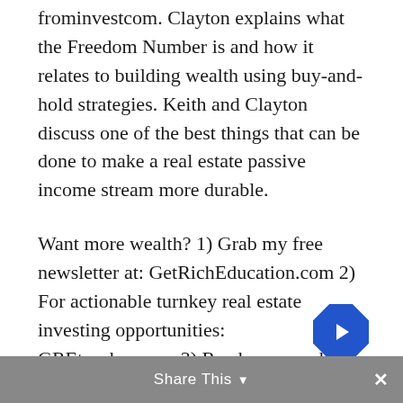frominvestcom. Clayton explains what the Freedom Number is and how it relates to building wealth using buy-and-hold strategies. Keith and Clayton discuss one of the best things that can be done to make a real estate passive income stream more durable.
Want more wealth? 1) Grab my free newsletter at: GetRichEducation.com 2) For actionable turnkey real estate investing opportunities: GREturnkey.com 3) Read my new, best-selling book: GetRichEducation.com/Book Listen to this week's show and learn.
Share This